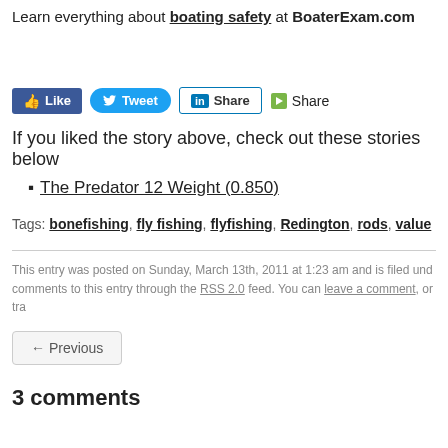Learn everything about boating safety at BoaterExam.com
[Figure (infographic): Social sharing buttons: Like (Facebook, blue), Tweet (Twitter, blue rounded), Share (LinkedIn, blue outlined), and a Share link with icon]
If you liked the story above, check out these stories below
The Predator 12 Weight (0.850)
Tags: bonefishing, fly fishing, flyfishing, Redington, rods, value
This entry was posted on Sunday, March 13th, 2011 at 1:23 am and is filed und... comments to this entry through the RSS 2.0 feed. You can leave a comment, or tra...
← Previous
3 comments